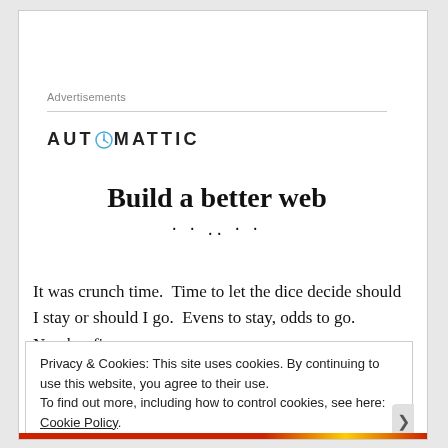Advertisements
[Figure (logo): Automattic logo — company wordmark with a compass/clock icon replacing the letter O]
Build a better web
It was crunch time.  Time to let the dice decide should I stay or should I go.  Evens to stay, odds to go.  Number five
Privacy & Cookies: This site uses cookies. By continuing to use this website, you agree to their use.
To find out more, including how to control cookies, see here: Cookie Policy
Close and accept